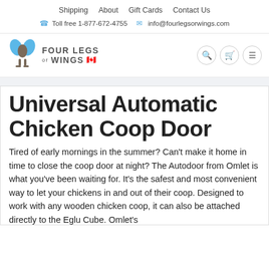Shipping  About  Gift Cards  Contact Us
Toll free 1-877-672-4755  info@fourlegsorwings.com
[Figure (logo): Four Legs or Wings logo with blue bird/wing icon and company name text with Canadian flag]
Universal Automatic Chicken Coop Door
Tired of early mornings in the summer? Can't make it home in time to close the coop door at night? The Autodoor from Omlet is what you've been waiting for. It's the safest and most convenient way to let your chickens in and out of their coop. Designed to work with any wooden chicken coop, it can also be attached directly to the Eglu Cube. Omlet's